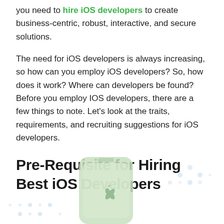you need to hire iOS developers to create business-centric, robust, interactive, and secure solutions.
The need for iOS developers is always increasing, so how can you employ iOS developers? So, how does it work? Where can developers be found? Before you employ IOS developers, there are a few things to note. Let's look at the traits, requirements, and recruiting suggestions for iOS developers.
Pre-Requisite for Hiring Best iOS Developers
[Figure (illustration): Decorative illustration showing a light green smartphone with an Apple logo, surrounded by faint blue circular dot patterns on a white background.]